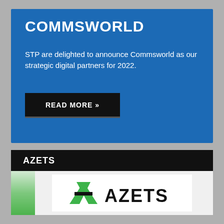COMMSWORLD
STP are delighted to announce Commsworld as our strategic digital partners for 2022.
READ MORE »
AZETS
[Figure (logo): Azets company logo with green stylized A symbol and black AZETS wordmark]